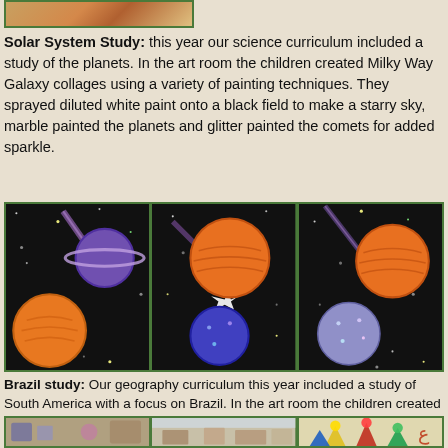[Figure (photo): Partial view of a photo at top of page, cropped]
Solar System Study: this year our science curriculum included a study of the planets. In the art room the children created Milky Way Galaxy collages using a variety of painting techniques. They sprayed diluted white paint onto a black field to make a starry sky, marble painted the planets and glitter painted the comets for added sparkle.
[Figure (photo): Three student-created Milky Way Galaxy collages showing painted planets on black backgrounds with glitter comets and stars]
Brazil study: Our geography curriculum this year included a study of South America with a focus on Brazil. In the art room the children created bird-like Carnival masks in keeping with the Brazilian festival.
Earth Day recycling project (last photo): Our students used found materials such as discarded wallpaper, paper cups, popsicle sticks, cardboard and packing material to create a garden of spring flowers.
[Figure (photo): Partial bottom strip showing three photos of student art projects including carnival masks and recycling project flowers]